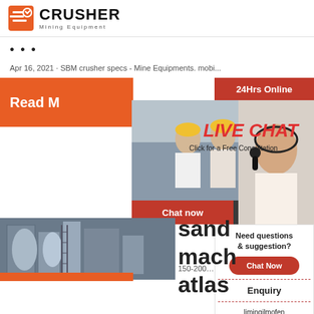[Figure (logo): Crusher Mining Equipment logo with red shopping bag icon and bold text]
•••
Apr 16, 2021 · SBM crusher specs - Mine Equipments. mobi...
[Figure (screenshot): Website screenshot showing orange Read More banner, 24Hrs Online badge, Live Chat popup with workers photo, Chat now and Chat later buttons, industrial machinery photo, text reading sand mach atlas 150-200, right sidebar with Need questions & suggestion, Chat Now, Enquiry, limingjlmofen@sina.com]